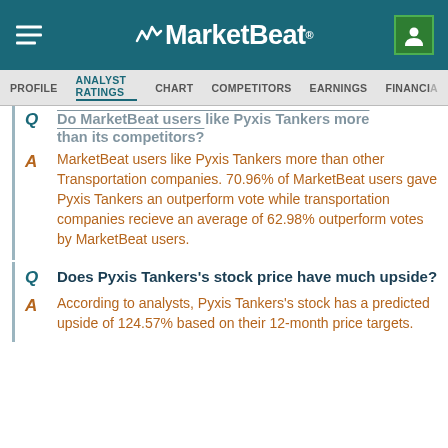MarketBeat
PROFILE | ANALYST RATINGS | CHART | COMPETITORS | EARNINGS | FINANCIAL
Do MarketBeat users like Pyxis Tankers more than its competitors?
MarketBeat users like Pyxis Tankers more than other Transportation companies. 70.96% of MarketBeat users gave Pyxis Tankers an outperform vote while transportation companies recieve an average of 62.98% outperform votes by MarketBeat users.
Does Pyxis Tankers's stock price have much upside?
According to analysts, Pyxis Tankers's stock has a predicted upside of 124.57% based on their 12-month price targets.